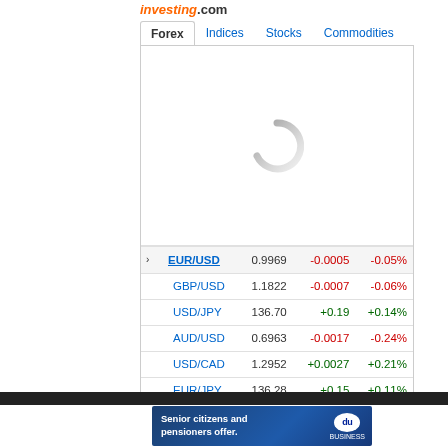investing.com
Forex | Indices | Stocks | Commodities
[Figure (screenshot): Loading spinner (grey letter C) in a white widget area]
|  | Pair | Price | Change | % Change |
| --- | --- | --- | --- | --- |
| › | EUR/USD | 0.9969 | -0.0005 | -0.05% |
|  | GBP/USD | 1.1822 | -0.0007 | -0.06% |
|  | USD/JPY | 136.70 | +0.19 | +0.14% |
|  | AUD/USD | 0.6963 | -0.0017 | -0.24% |
|  | USD/CAD | 1.2952 | +0.0027 | +0.21% |
|  | EUR/JPY | 136.28 | +0.15 | +0.11% |
[Figure (illustration): Advertisement banner: Senior citizens and pensioners offer. du Business logo.]